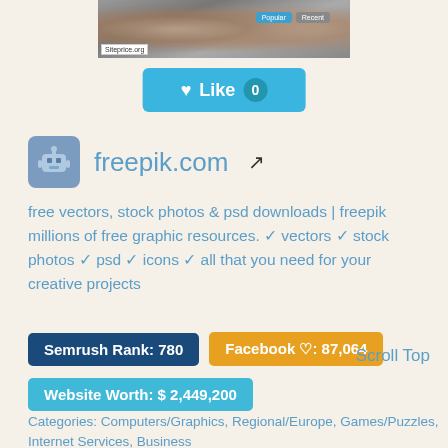[Figure (screenshot): Partial screenshot of freepik.com website with siteprice.org overlay badge and popup buttons]
[Figure (other): Like button with heart icon showing count 0, teal/blue color]
freepik.com [external link icon]
free vectors, stock photos & psd downloads | freepik millions of free graphic resources. ✓ vectors ✓ stock photos ✓ psd ✓ icons ✓ all that you need for your creative projects
Semrush Rank: 780
Facebook ♡: 87,064
Scroll Top
Website Worth: $ 2,449,200
Categories: Computers/Graphics, Regional/Europe, Games/Puzzles, Internet Services, Business
Is it similar? Yes 0  No 0